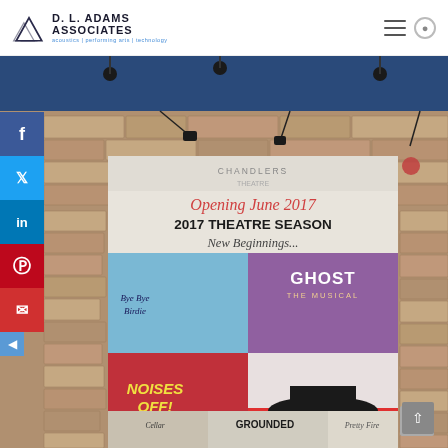D. L. Adams Associates | acoustics | performing arts | technology
[Figure (photo): Photograph of a stone-clad exterior wall of a theatre building with a large vertical banner hung on it. The banner advertises the 2017 Theatre Season 'New Beginnings...' opening June 2017, featuring shows: Ghost The Musical, Noises Off!, Murder for Two, Bye Bye Birdie (cellar), Grounded, and Pretty Fire. Social media sharing buttons (Facebook, Twitter, LinkedIn, Pinterest, Email) are visible on the left side.]